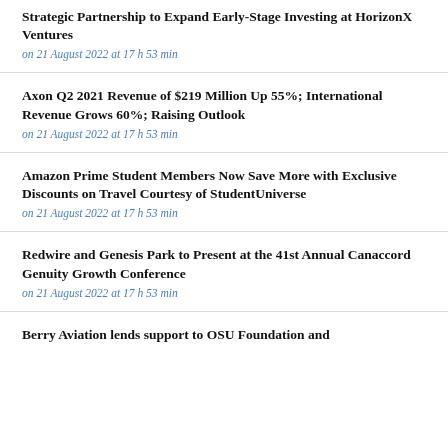Strategic Partnership to Expand Early-Stage Investing at HorizonX Ventures
on 21 August 2022 at 17 h 53 min
Axon Q2 2021 Revenue of $219 Million Up 55%; International Revenue Grows 60%; Raising Outlook
on 21 August 2022 at 17 h 53 min
Amazon Prime Student Members Now Save More with Exclusive Discounts on Travel Courtesy of StudentUniverse
on 21 August 2022 at 17 h 53 min
Redwire and Genesis Park to Present at the 41st Annual Canaccord Genuity Growth Conference
on 21 August 2022 at 17 h 53 min
Berry Aviation lends support to OSU Foundation and